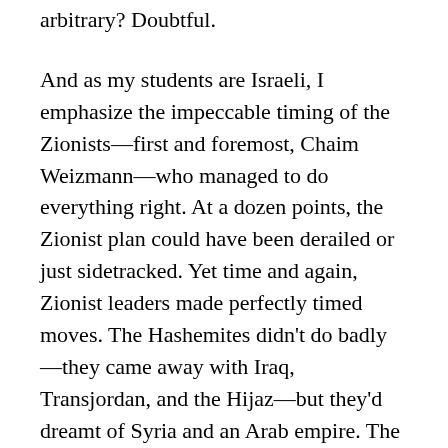arbitrary? Doubtful.
And as my students are Israeli, I emphasize the impeccable timing of the Zionists—first and foremost, Chaim Weizmann—who managed to do everything right. At a dozen points, the Zionist plan could have been derailed or just sidetracked. Yet time and again, Zionist leaders made perfectly timed moves. The Hashemites didn't do badly—they came away with Iraq, Transjordan, and the Hijaz—but they'd dreamt of Syria and an Arab empire. The post-war left the Arabs with a burning sense of betrayal that persists to this day.
Bernard Lewis wasn't a diplomatic historian, and I don't think that he ever even mentioned Sykes-Picot.